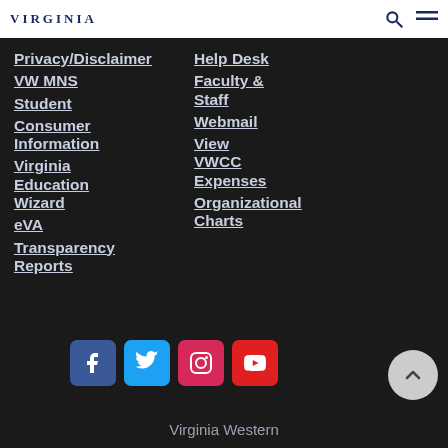VIRGINIA
Privacy/Disclaimer
Help Desk
VW MNS
Faculty & Staff
Student
Webmail
Consumer Information
View VWCC Expenses
Virginia Education Wizard
Organizational Charts
eVA
Transparency Reports
[Figure (logo): Social media icons: Facebook, Twitter, Instagram, YouTube]
Virginia Western